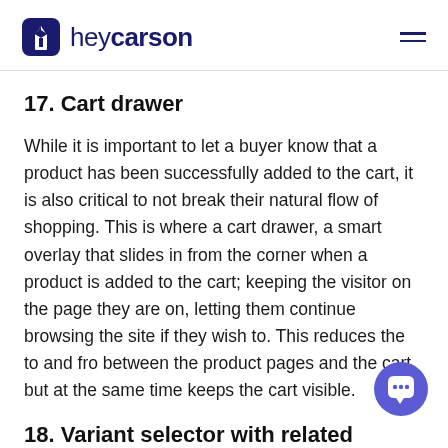heycarson
17. Cart drawer
While it is important to let a buyer know that a product has been successfully added to the cart, it is also critical to not break their natural flow of shopping. This is where a cart drawer, a smart overlay that slides in from the corner when a product is added to the cart; keeping the visitor on the page they are on, letting them continue browsing the site if they wish to. This reduces the to and fro between the product pages and the cart, but at the same time keeps the cart visible.
18. Variant selector with related images